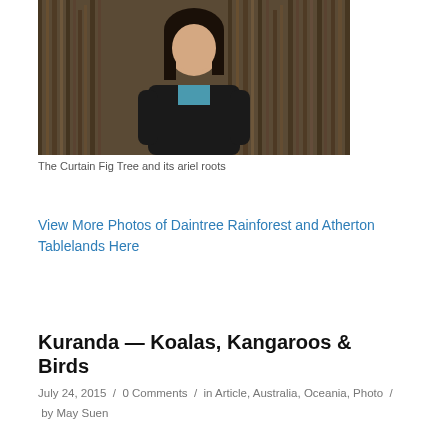[Figure (photo): A woman with long dark hair wearing a black jacket and teal shirt stands in front of a large Curtain Fig Tree with dramatic hanging aerial roots forming a curtain-like structure behind her.]
The Curtain Fig Tree and its ariel roots
View More Photos of Daintree Rainforest and Atherton Tablelands Here
Kuranda — Koalas, Kangaroos & Birds
July 24, 2015  /  0 Comments  /  in Article, Australia, Oceania, Photo  /  by May Suen